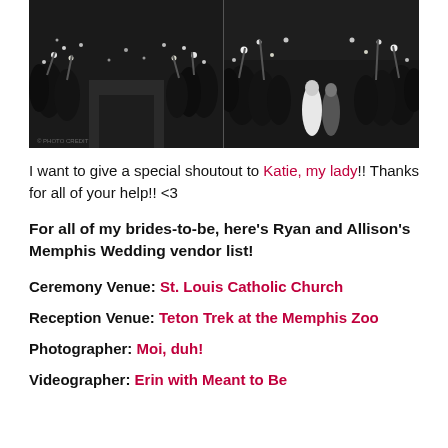[Figure (photo): Two black-and-white wedding photos side by side showing guests holding sparklers and creating a tunnel for the couple to walk through.]
I want to give a special shoutout to Katie, my lady!! Thanks for all of your help!! <3
For all of my brides-to-be, here's Ryan and Allison's Memphis Wedding vendor list!
Ceremony Venue: St. Louis Catholic Church
Reception Venue: Teton Trek at the Memphis Zoo
Photographer: Moi, duh!
Videographer: Erin with Meant to Be